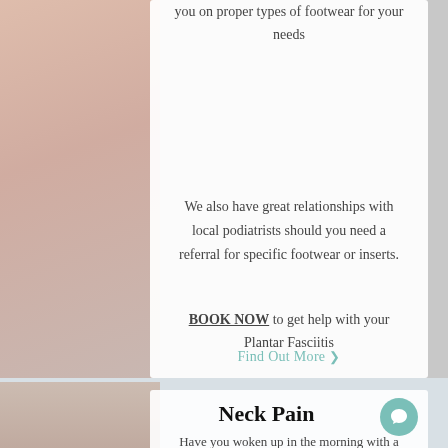you on proper types of footwear for your needs
We also have great relationships with local podiatrists should you need a referral for specific footwear or inserts.
BOOK NOW to get help with your Plantar Fasciitis
Find Out More >
Neck Pain
Have you woken up in the morning with a